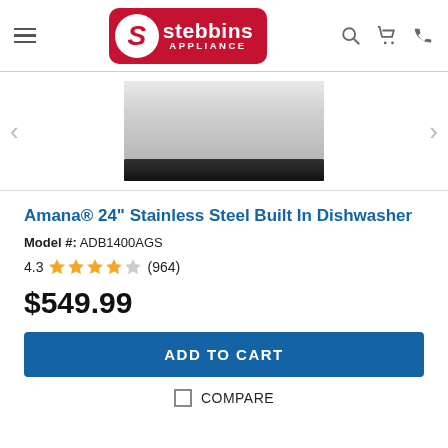[Figure (logo): Stebbins Appliance logo — red rounded rectangle with white S in circle, 'stebbins' in bold white, 'APPLIANCE' below]
[Figure (photo): Amana 24-inch Stainless Steel Built In Dishwasher product image — stainless steel front panel with black bottom trim, cropped top view]
Amana® 24" Stainless Steel Built In Dishwasher
Model #: ADB1400AGS
4.3 ★★★★☆ (964)
$549.99
ADD TO CART
COMPARE